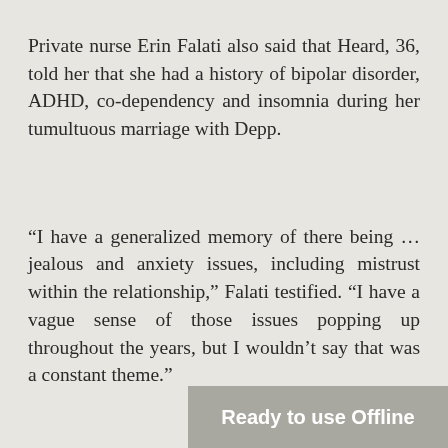Private nurse Erin Falati also said that Heard, 36, told her that she had a history of bipolar disorder, ADHD, co-dependency and insomnia during her tumultuous marriage with Depp.
“I have a generalized memory of there being … jealous and anxiety issues, including mistrust within the relationship,” Falati testified. “I have a vague sense of those issues popping up throughout the years, but I wouldn’t say that was a constant theme.”
[Figure (other): Grey rounded rectangle button overlay with text 'Ready to use Offline']